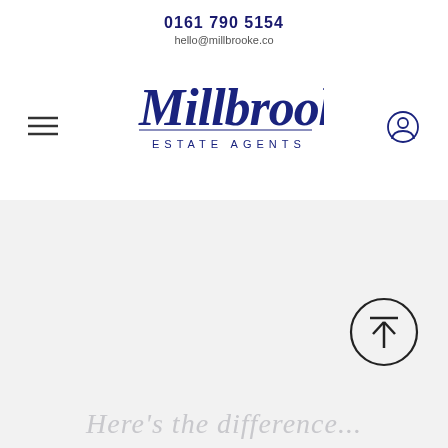0161 790 5154
hello@millbrooke.co
[Figure (logo): Millbrooke Estate Agents logo — stylized cursive script 'Millbrooke' with 'ESTATE AGENTS' below in small caps, dark navy blue]
[Figure (other): Hamburger menu icon (three horizontal lines) on the left side of header]
[Figure (other): User/account circle icon on the right side of header]
[Figure (other): Circular scroll-to-top button with upward arrow inside, bottom-right of gray section]
Here's the difference...